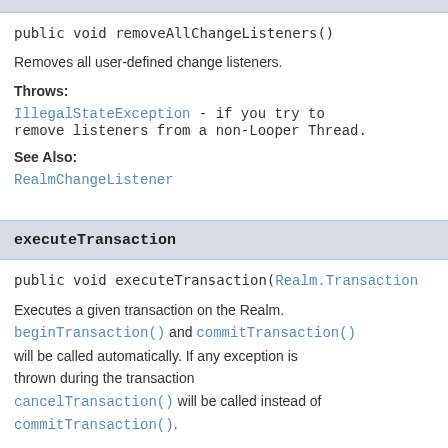removeAllChangeListeners (partial, top)
public void removeAllChangeListeners()
Removes all user-defined change listeners.
Throws:
IllegalStateException - if you try to remove listeners from a non-Looper Thread.
See Also:
RealmChangeListener
executeTransaction
public void executeTransaction(Realm.Transaction
Executes a given transaction on the Realm. beginTransaction() and commitTransaction() will be called automatically. If any exception is thrown during the transaction cancelTransaction() will be called instead of commitTransaction().